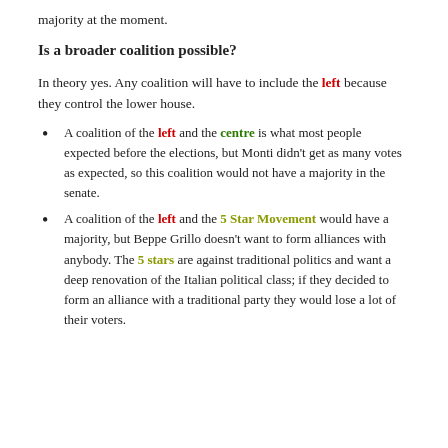majority at the moment.
Is a broader coalition possible?
In theory yes. Any coalition will have to include the left because they control the lower house.
A coalition of the left and the centre is what most people expected before the elections, but Monti didn't get as many votes as expected, so this coalition would not have a majority in the senate.
A coalition of the left and the 5 Star Movement would have a majority, but Beppe Grillo doesn't want to form alliances with anybody. The 5 stars are against traditional politics and want a deep renovation of the Italian political class; if they decided to form an alliance with a traditional party they would lose a lot of their voters.